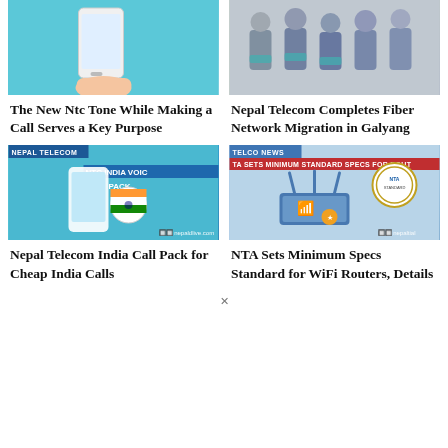[Figure (photo): Hand holding a smartphone against a light blue background]
[Figure (photo): Group of people, likely students or professionals, sitting together]
The New Ntc Tone While Making a Call Serves a Key Purpose
Nepal Telecom Completes Fiber Network Migration in Galyang
[Figure (photo): Nepal Telecom NTC India Voice Pack promotional image with phone and Indian flag]
[Figure (photo): WiFi router graphic with NTA minimum standard specs banner]
Nepal Telecom India Call Pack for Cheap India Calls
NTA Sets Minimum Specs Standard for WiFi Routers, Details